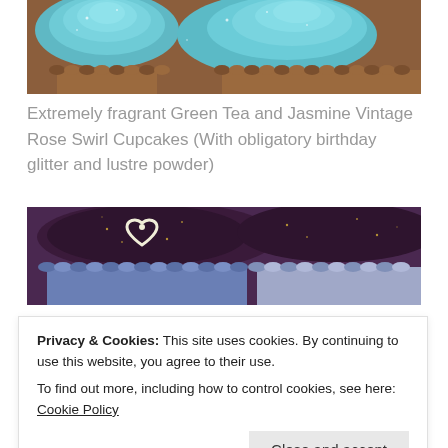[Figure (photo): Close-up photo of cupcakes with teal/turquoise vintage rose swirl frosting with glitter and lustre powder, in brown paper cases]
Extremely fragrant Green Tea and Jasmine Vintage Rose Swirl Cupcakes (With obligatory birthday glitter and lustre powder)
[Figure (photo): Close-up photo of dark chocolate cupcakes in blue paper cases with white chocolate heart decoration and gold glitter]
Privacy & Cookies: This site uses cookies. By continuing to use this website, you agree to their use.
To find out more, including how to control cookies, see here: Cookie Policy
[Figure (photo): Bottom portion of dark chocolate cupcakes with white chocolate decoration]